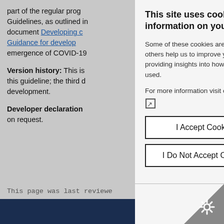part of the regular prog Guidelines, as outlined in document Developing c Guidance for develop emergence of COVID-19
Version history: This is this guideline; the third d development.
Developer declaration on request.
This page was last reviewed
This site uses cookies information on your c
Some of these cookies are others help us to improve y providing insights into how used.
For more information visit o
I Accept Cookies
I Do Not Accept Cookies